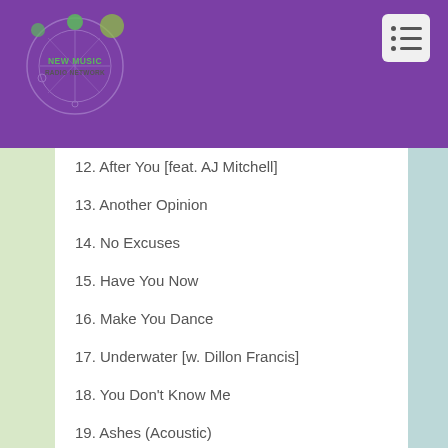[Figure (logo): New Music Radio Network logo — circular graphic with purple background, green circles, grid lines, and green text reading NEW MUSIC RADIO NETWORK]
12. After You [feat. AJ Mitchell]
13. Another Opinion
14. No Excuses
15. Have You Now
16. Make You Dance
17. Underwater [w. Dillon Francis]
18. You Don't Know Me
19. Ashes (Acoustic)
20. Workin' On It (Acoustic)